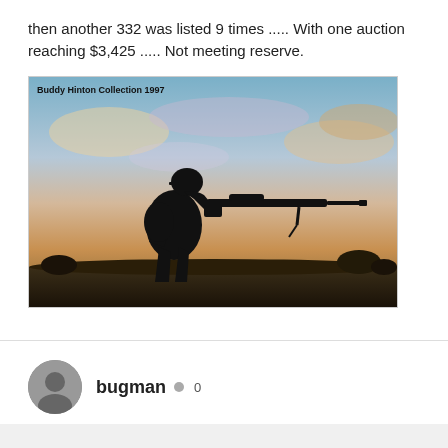then another 332 was listed 9 times ..... With one auction reaching $3,425 ..... Not meeting reserve.
[Figure (photo): Silhouette of a soldier in a cap aiming a rifle with a scope against a colorful sunset sky. Watermark reads: Buddy Hinton Collection 1997]
bugman  0